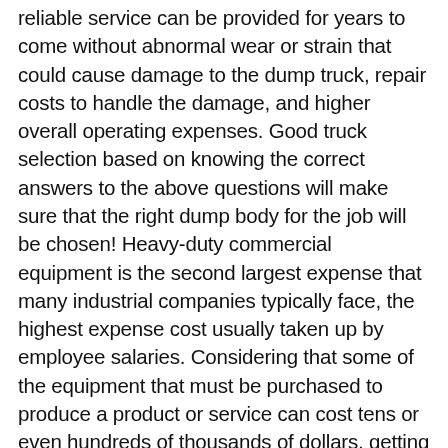reliable service can be provided for years to come without abnormal wear or strain that could cause damage to the dump truck, repair costs to handle the damage, and higher overall operating expenses. Good truck selection based on knowing the correct answers to the above questions will make sure that the right dump body for the job will be chosen! Heavy-duty commercial equipment is the second largest expense that many industrial companies typically face, the highest expense cost usually taken up by employee salaries. Considering that some of the equipment that must be purchased to produce a product or service can cost tens or even hundreds of thousands of dollars, getting equipment that is able to handle the work that is usually done is essential in order to prevent premature wear and costly breakdowns. Selecting the correctly outfitted equipment even applies to something as simple as a dump truck,